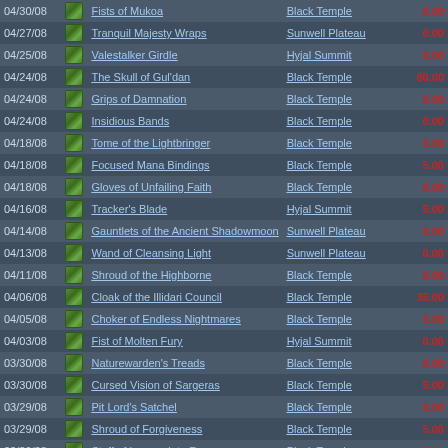| Date |  | Item | Zone | Price |
| --- | --- | --- | --- | --- |
| 04/30/08 |  | Fists of Mukoa | Black Temple | 0.00 |
| 04/27/08 |  | Tranquil Majesty Wraps | Sunwell Plateau | 0.00 |
| 04/25/08 |  | Valestalker Girdle | Hyjal Summit | 0.00 |
| 04/24/08 |  | The Skull of Gul'dan | Black Temple | 80.00 |
| 04/24/08 |  | Grips of Damnation | Black Temple | 0.00 |
| 04/24/08 |  | Insidious Bands | Black Temple | 0.00 |
| 04/18/08 |  | Tome of the Lightbringer | Black Temple | 0.00 |
| 04/18/08 |  | Focused Mana Bindings | Black Temple | 5.00 |
| 04/18/08 |  | Gloves of Unfailing Faith | Black Temple | 0.00 |
| 04/16/08 |  | Tracker's Blade | Hyjal Summit | 5.00 |
| 04/14/08 |  | Gauntlets of the Ancient Shadowmoon | Sunwell Plateau | 0.00 |
| 04/13/08 |  | Wand of Cleansing Light | Sunwell Plateau | 0.00 |
| 04/11/08 |  | Shroud of the Highborne | Black Temple | 0.00 |
| 04/06/08 |  | Cloak of the Illidari Council | Black Temple | 35.00 |
| 04/05/08 |  | Choker of Endless Nightmares | Black Temple | 0.00 |
| 04/03/08 |  | Fist of Molten Fury | Hyjal Summit | 0.00 |
| 03/30/08 |  | Naturewarden's Treads | Black Temple | 0.00 |
| 03/30/08 |  | Cursed Vision of Sargeras | Black Temple | 5.00 |
| 03/29/08 |  | Pit Lord's Satchel | Black Temple | 0.00 |
| 03/29/08 |  | Shroud of Forgiveness | Black Temple | 5.00 |
| 03/29/08 |  | Staff of Immaculate Recovery | Black Temple | 0.00 |
| 03/28/08 |  | Syphon of the Nathrezim | Black Temple | 0.00 |
| 03/28/08 |  | The Brutalizer | Black Temple | 0.00 |
| 03/27/08 |  | Savior's Grasp | Gruuls Lair | 0.00 |
| 03/27/08 |  | Robes of Rhonin | Gruuls Lair | 0.00 |
| 03/26/08 |  | Claw of Molten Fury | Hyjal Summit | 0.00 |